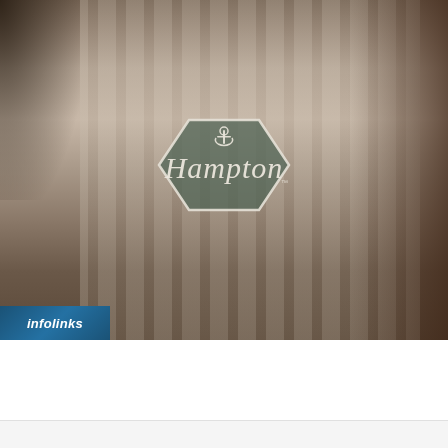[Figure (photo): Hampton Inn hotel promotional photo showing a blurred interior scene with curtains/window in background, person silhouette on right, and Hampton brand logo badge centered in the image]
[Figure (logo): infolinks logo in blue banner at bottom-left of photo]
[Figure (photo): Wayfair advertisement banner showing kitchen appliance product images on left]
Online Home Store for Furniture
Shop Wayfair for A Zillion Things Home across all styles
www.wayfair.com